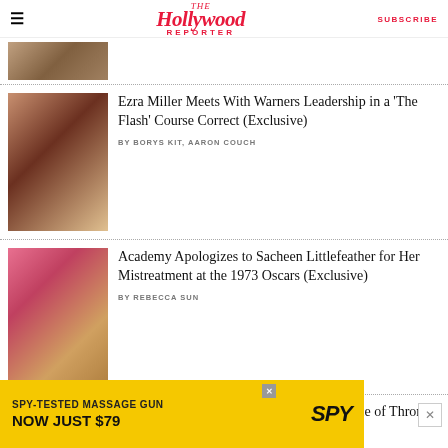The Hollywood Reporter | SUBSCRIBE
[Figure (photo): Partial thumbnail image at top of article list]
Ezra Miller Meets With Warners Leadership in a ‘The Flash’ Course Correct (Exclusive)
BY BORYS KIT, AARON COUCH
[Figure (photo): Photo of Sacheen Littlefeather holding Oscar statuette in front of pink background]
Academy Apologizes to Sacheen Littlefeather for Her Mistreatment at the 1973 Oscars (Exclusive)
BY REBECCA SUN
[Figure (photo): Partial thumbnail for House of the Dragon article]
‘House of the Dragon’ Review: HBO’s ‘Game of Thrones’ Prequel Delivers
[Figure (photo): SPY advertisement banner: SPY-TESTED MASSAGE GUN NOW JUST $79]